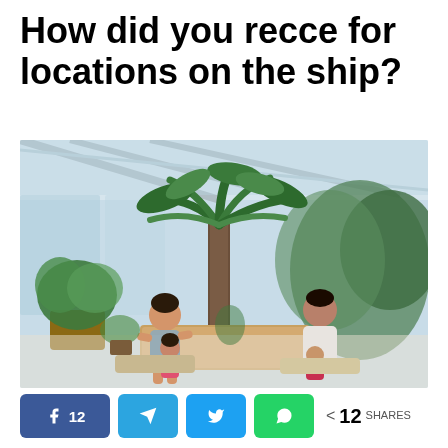How did you recce for locations on the ship?
[Figure (photo): Family scene on a ship deck with tropical plants and a palm tree. A woman in a swimsuit sits with a young girl in a pink swimsuit on the left. A man holds a baby on the right. The space has large windows and abundant greenery.]
12  < 12 SHARES